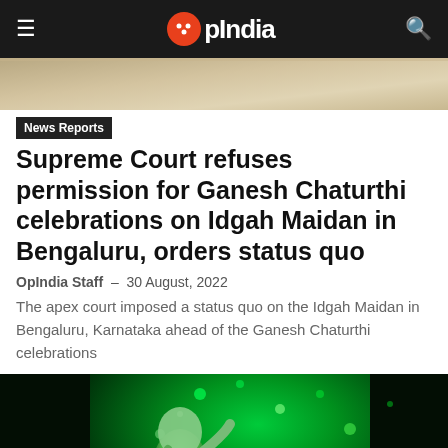OpIndia
[Figure (photo): Light brown/tan textured background image strip at top of article]
News Reports
Supreme Court refuses permission for Ganesh Chaturthi celebrations on Idgah Maidan in Bengaluru, orders status quo
OpIndia Staff · 30 August, 2022
The apex court imposed a status quo on the Idgah Maidan in Bengaluru, Karnataka ahead of the Ganesh Chaturthi celebrations
[Figure (photo): Night photo of a large Ganesh idol statue illuminated in green light with crowds below, during Ganesh festival celebrations]